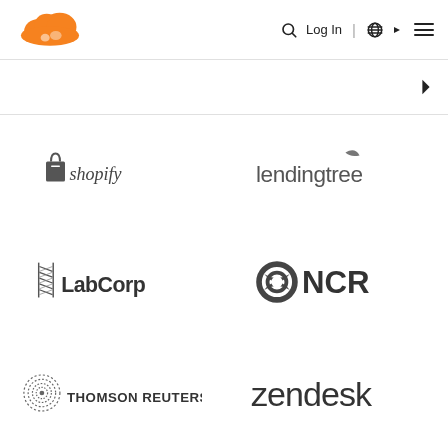[Figure (logo): Cloudflare orange cloud logo in page header]
[Figure (logo): Navigation bar with search, Log In, globe, and menu icons]
[Figure (logo): Shopify logo - grayscale]
[Figure (logo): LendingTree logo - grayscale]
[Figure (logo): LabCorp logo - grayscale]
[Figure (logo): NCR logo - grayscale]
[Figure (logo): Thomson Reuters logo - grayscale]
[Figure (logo): Zendesk logo - grayscale]